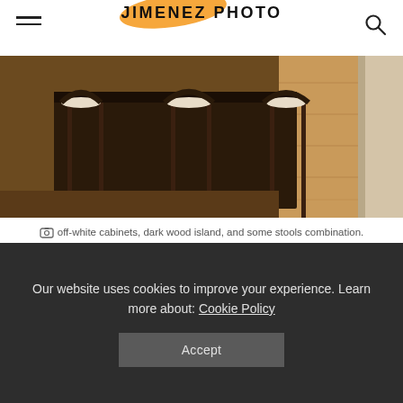JIMENEZ PHOTO
[Figure (photo): Kitchen scene with dark wood bar stools around a dark wood island, light hardwood flooring visible in the background, white/cream kitchen elements.]
off-white cabinets, dark wood island, and some stools combination. image © owingsbrothers.com
A dark wood kitchen island is the next excellent thing to match with your off-white cabinets. We can say something like this because the natural
Our website uses cookies to improve your experience. Learn more about: Cookie Policy